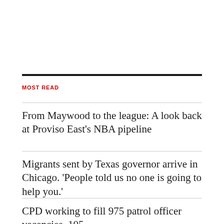MOST READ
From Maywood to the league: A look back at Proviso East's NBA pipeline
Migrants sent by Texas governor arrive in Chicago. 'People told us no one is going to help you.'
CPD working to fill 975 patrol officer vacancies, 105